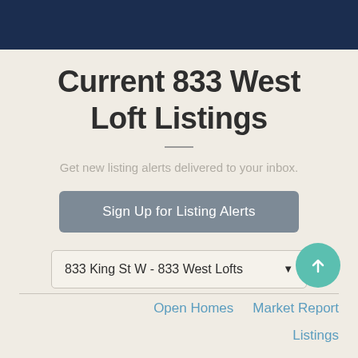Current 833 West Loft Listings
Get new listing alerts delivered to your inbox.
Sign Up for Listing Alerts
833 King St W - 833 West Lofts
Open Homes   Market Report
Listings